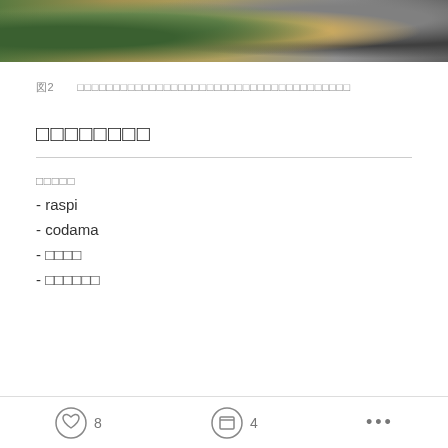[Figure (photo): Close-up photo of a circuit board with electronic components and a metallic device, viewed from above on a wooden surface.]
図2　（Japanese characters — figure caption with description of components）
（Japanese characters — section heading）
（Japanese characters — tags label）
- raspi
- codama
- （Japanese characters）
- （Japanese characters）
♡ 8   □ 4   ...